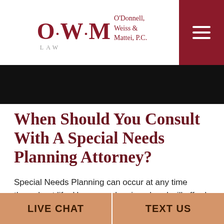[Figure (logo): OWM Law logo — O'Donnell, Weiss & Mattei, P.C. with hamburger menu button on dark red background]
[Figure (photo): Dark black banner/header image strip]
When Should You Consult With A Special Needs Planning Attorney?
Special Needs Planning can occur at any time throughout life. However, planning ahead will afford you and your family more options and greater flexibility.
LIVE CHAT | TEXT US